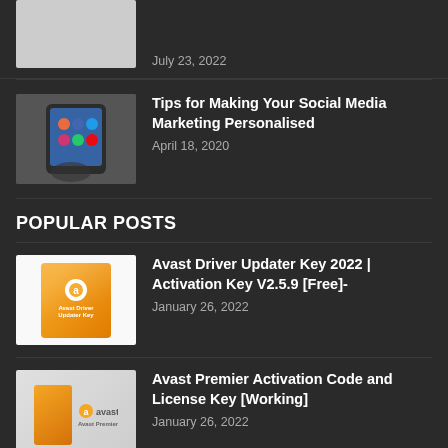[Figure (photo): Partial thumbnail of a phone/tablet image at top, cropped]
July 23, 2022
[Figure (photo): Hand holding a smartphone with social media app icons on screen]
Tips for Making Your Social Media Marketing Personalised
April 18, 2020
POPULAR POSTS
[Figure (photo): Avast Driver Updater Key box packaging — orange product box]
Avast Driver Updater Key 2022 | Activation Key V2.5.9 [Free]-
January 26, 2022
[Figure (photo): Avast Premier product box with orange packaging and Avast logo]
Avast Premier Activation Code and License Key [Working]
January 26, 2022
[Figure (photo): Purple/violet tech background with React Native development theme]
How React Native App Development Adds Value To A Business?